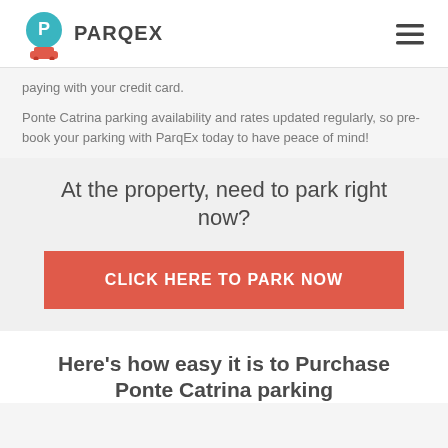PARQEX
paying with your credit card.
Ponte Catrina parking availability and rates updated regularly, so pre-book your parking with ParqEx today to have peace of mind!
At the property, need to park right now?
CLICK HERE TO PARK NOW
Here's how easy it is to Purchase Ponte Catrina parking